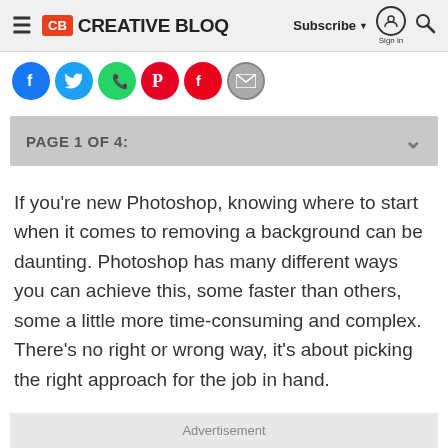Creative Bloq | Subscribe | Sign in
[Figure (other): Social sharing icons row: Facebook, Twitter, WhatsApp, Pinterest, Flipboard, Email]
PAGE 1 OF 4:
If you’re new Photoshop, knowing where to start when it comes to removing a background can be daunting. Photoshop has many different ways you can achieve this, some faster than others, some a little more time-consuming and complex. There's no right or wrong way, it's about picking the right approach for the job in hand.
Advertisement